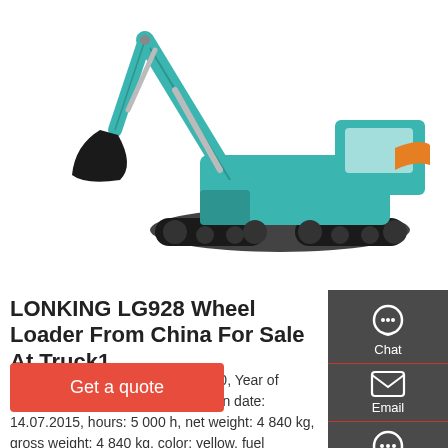[Figure (photo): Teal/green hydraulic excavator (crawler excavator) on white background, facing left, with arm extended and bucket lowered]
LONKING LG928 Wheel Loader From China For Sale At Truck1
Jul 14, 2015 · ID: WZ20211117010, Year of manufacture: 2015, first registration date: 14.07.2015, hours: 5 000 h, net weight: 4 840 kg, gross weight: 4 840 kg, color: yellow, fuel